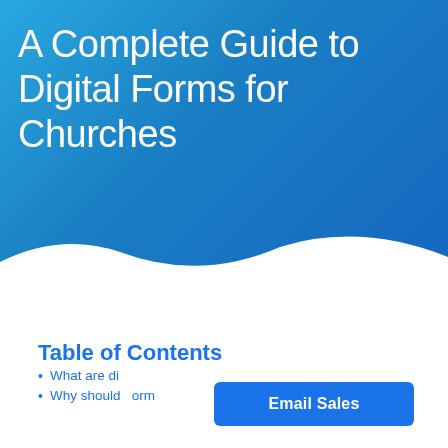A Complete Guide to Digital Forms for Churches
Table of Contents
What are di...
Why should...orm